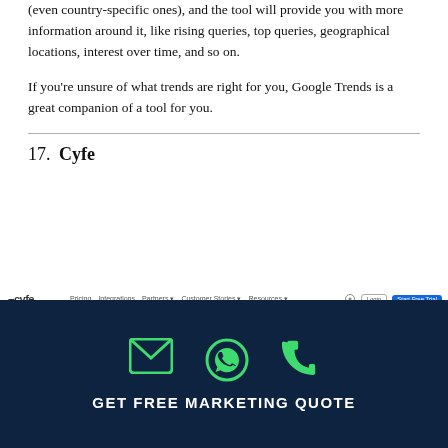All you have to do is plug a few keywords (even country-specific ones), and the tool will provide you with more information around it, like rising queries, top queries, geographical locations, interest over time, and so on.
If you’re unsure of what trends are right for you, Google Trends is a great companion of a tool for you.
17. Cyfe
[Figure (screenshot): Screenshot of the Cyfe website homepage showing a dark dashboard mockup with Twitter analytics widget and 'ALL-IN-ONE BUSINESS DASHBOARDS' tagline. The navbar shows the Cyfe logo, nav links, login and free trial buttons.]
GET FREE MARKETING QUOTE